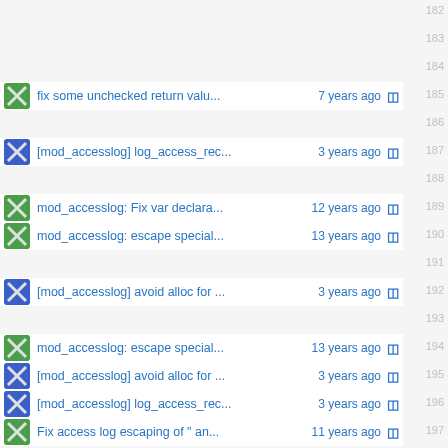fix some unchecked return valu... 7 years ago
[mod_accesslog] log_access_rec... 3 years ago
mod_accesslog: Fix var declara... 12 years ago
mod_accesslog: escape special... 13 years ago
[mod_accesslog] avoid alloc for ... 3 years ago
mod_accesslog: escape special... 13 years ago
[mod_accesslog] avoid alloc for ... 3 years ago
[mod_accesslog] log_access_rec... 3 years ago
Fix access log escaping of " an... 11 years ago
mod_accesslog: optimize acce... 12 years ago